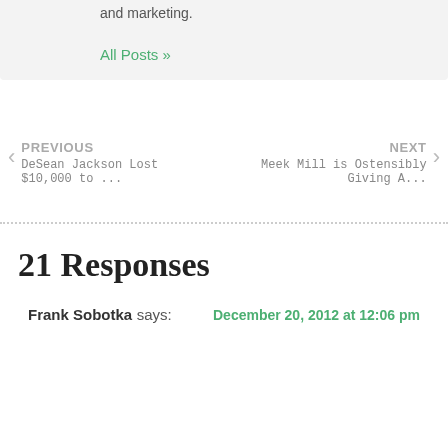and marketing.
All Posts »
PREVIOUS
DeSean Jackson Lost $10,000 to ...
NEXT
Meek Mill is Ostensibly Giving A...
21 Responses
Frank Sobotka says:
December 20, 2012 at 12:06 pm